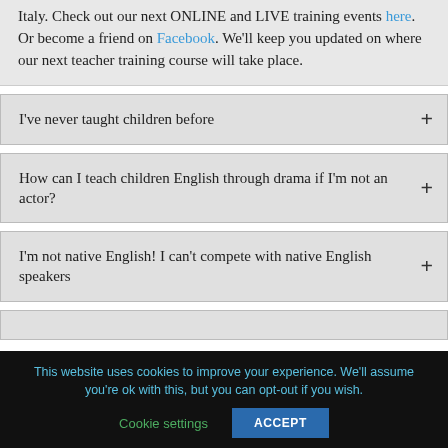Italy. Check out our next ONLINE and LIVE training events here. Or become a friend on Facebook. We'll keep you updated on where our next teacher training course will take place.
I've never taught children before
How can I teach children English through drama if I'm not an actor?
I'm not native English! I can't compete with native English speakers
This website uses cookies to improve your experience. We'll assume you're ok with this, but you can opt-out if you wish.
Cookie settings
ACCEPT